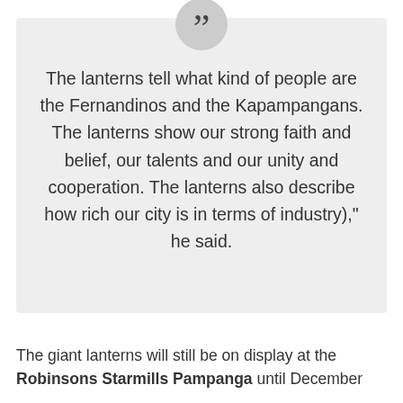The lanterns tell what kind of people are the Fernandinos and the Kapampangans. The lanterns show our strong faith and belief, our talents and our unity and cooperation. The lanterns also describe how rich our city is in terms of industry)," he said.
The giant lanterns will still be on display at the Robinsons Starmills Pampanga until December